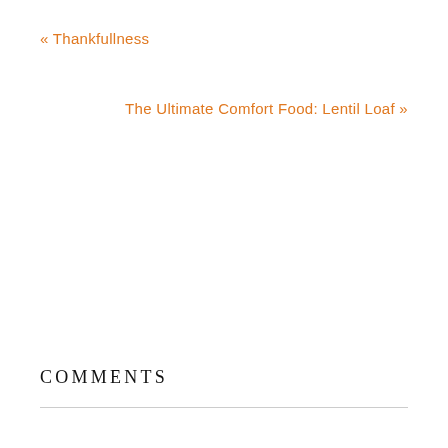« Thankfullness
The Ultimate Comfort Food: Lentil Loaf »
COMMENTS